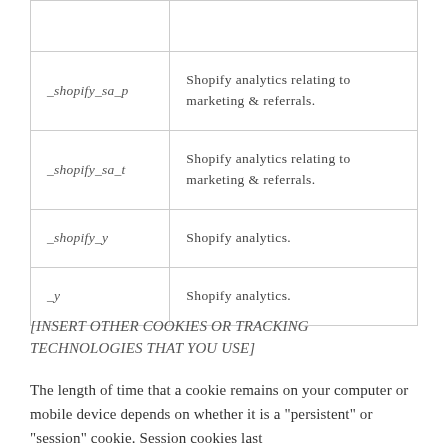| _shopify_sa_p | Shopify analytics relating to marketing & referrals. |
| _shopify_sa_t | Shopify analytics relating to marketing & referrals. |
| _shopify_y | Shopify analytics. |
| _y | Shopify analytics. |
[INSERT OTHER COOKIES OR TRACKING TECHNOLOGIES THAT YOU USE]
The length of time that a cookie remains on your computer or mobile device depends on whether it is a "persistent" or "session" cookie. Session cookies last